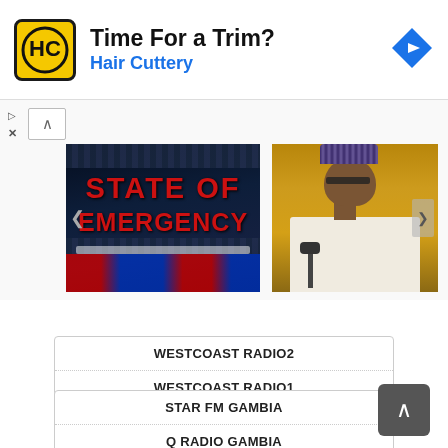[Figure (screenshot): Advertisement banner for Hair Cuttery with yellow logo, bold text 'Time For a Trim?', blue subtext 'Hair Cuttery', and blue diamond navigation icon on the right.]
[Figure (screenshot): Carousel image 1: Dark background with 'STATE OF EMERGENCY' text in red, police emergency lights at bottom.]
[Figure (photo): Carousel image 2: Man in white outfit and traditional cap with glasses, seated at a microphone.]
WESTCOAST RADIO2
WESTCOAST RADIO1
STAR FM GAMBIA
Q RADIO GAMBIA